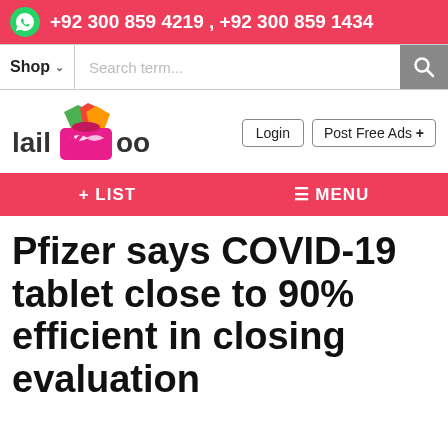+92 300 859 4219 , +92 300 859 1434
[Figure (screenshot): Website search bar with Shop dropdown and search term input]
[Figure (logo): Lailyboo website logo with colorful shopping bag graphic]
Login   Post Free Ads +
[Figure (screenshot): Navigation bar with + LIST and ≡ MENU buttons]
Pfizer says COVID-19 tablet close to 90% efficient in closing evaluation